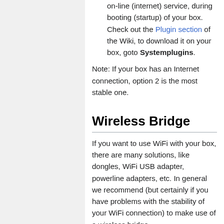on-line (internet) service, during booting (startup) of your box. Check out the Plugin section of the Wiki, to download it on your box, goto Systemplugins.
Note: If your box has an Internet connection, option 2 is the most stable one.
Wireless Bridge
If you want to use WiFi with your box, there are many solutions, like dongles, WiFi USB adapter, powerline adapters, etc. In general we recommend (but certainly if you have problems with the stability of your WiFi connection) to make use of a wireless bridge.